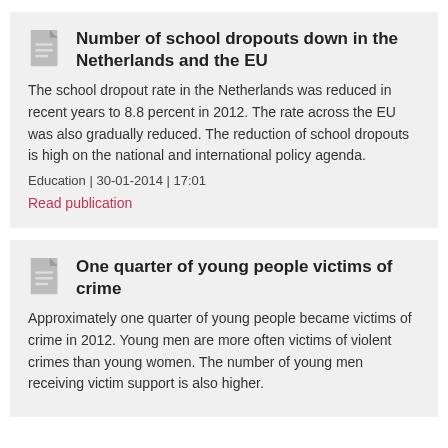Number of school dropouts down in the Netherlands and the EU
The school dropout rate in the Netherlands was reduced in recent years to 8.8 percent in 2012. The rate across the EU was also gradually reduced. The reduction of school dropouts is high on the national and international policy agenda.
Education | 30-01-2014 | 17:01
Read publication
One quarter of young people victims of crime
Approximately one quarter of young people became victims of crime in 2012. Young men are more often victims of violent crimes than young women. The number of young men receiving victim support is also higher.